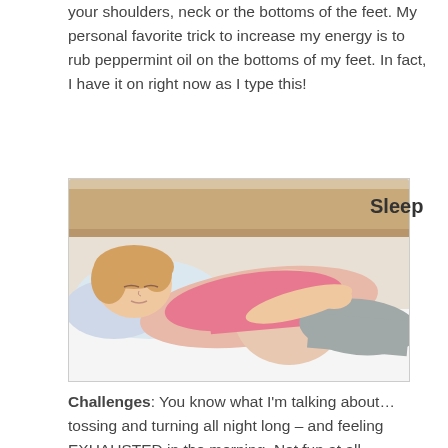your shoulders, neck or the bottoms of the feet. My personal favorite trick to increase my energy is to rub peppermint oil on the bottoms of my feet. In fact, I have it on right now as I type this!
[Figure (photo): Pregnant woman lying on her side on a bed sleeping, wearing a pink tank top and grey pants, resting on white pillows with a wooden headboard visible in the background.]
Sleep
Challenges: You know what I'm talking about… tossing and turning all night long – and feeling EXHAUSTED in the morning. Not fun at all (especially when you have a 2-year-old!). A sleeping pill sounds pretty tempting at this point, but – they can be habit-forming, and if you get habituated, the baby might ge addicted to too and could be born with the need to detox after